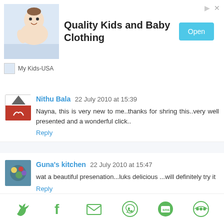[Figure (infographic): Advertisement banner for Quality Kids and Baby Clothing with baby photo, Open button, and My Kids-USA branding]
Nithu Bala 22 July 2010 at 15:39
Nayna, this is very new to me..thanks for shring this..very well presented and a wonderful click..
Reply
Guna's kitchen 22 July 2010 at 15:47
wat a beautiful presenation...luks delicious ...will definitely try it
Reply
Swathi 22 July 2010 at 16:02
[Figure (infographic): Social share bar with Twitter, Facebook, Email, WhatsApp, SMS, and other icons]